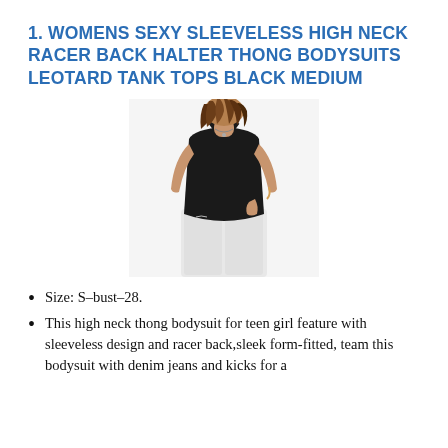1. WOMENS SEXY SLEEVELESS HIGH NECK RACER BACK HALTER THONG BODYSUITS LEOTARD TANK TOPS BLACK MEDIUM
[Figure (photo): Photo of a woman wearing a black sleeveless high neck racer back bodysuit with white jeans]
Size: S–bust–28.
This high neck thong bodysuit for teen girl feature with sleeveless design and racer back,sleek form-fitted, team this bodysuit with denim jeans and kicks for a